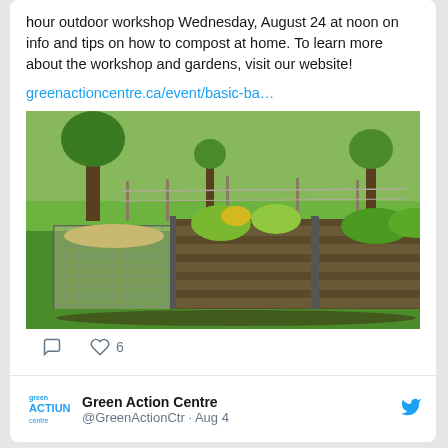hour outdoor workshop Wednesday, August 24 at noon on info and tips on how to compost at home. To learn more about the workshop and gardens, visit our website!
greenactioncentre.ca/event/basic-ba…
[Figure (photo): Outdoor compost bins made of wood slats and wire mesh on green grass, with trees and garden in background]
6 likes, comment icon and heart icon
Green Action Centre @GreenActionCtr · Aug 4